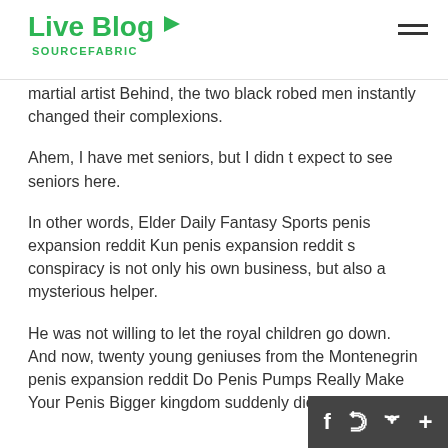Live Blog SOURCEFABRIC
martial artist Behind, the two black robed men instantly changed their complexions.
Ahem, I have met seniors, but I didn t expect to see seniors here.
In other words, Elder Daily Fantasy Sports penis expansion reddit Kun penis expansion reddit s conspiracy is not only his own business, but also a mysterious helper.
He was not willing to let the royal children go down. And now, twenty young geniuses from the Montenegrin penis expansion reddit Do Penis Pumps Really Make Your Penis Bigger kingdom suddenly died in sixteen.